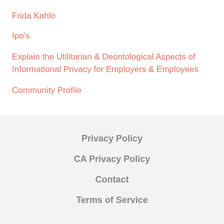Frida Kahlo
Ipo's
Explain the Utilitarian & Deontological Aspects of Informational Privacy for Employers & Employees
Community Profile
Privacy Policy
CA Privacy Policy
Contact
Terms of Service